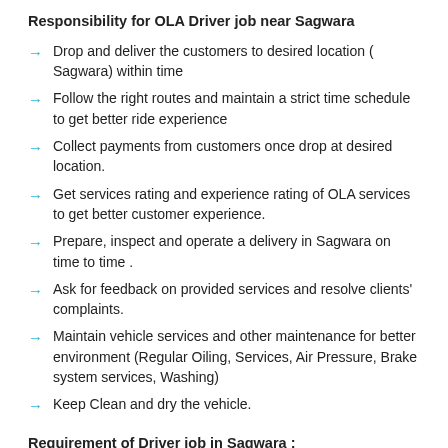Responsibility for OLA Driver job near Sagwara
Drop and deliver the customers to desired location ( Sagwara) within time
Follow the right routes and maintain a strict time schedule to get better ride experience
Collect payments from customers once drop at desired location.
Get services rating and experience rating of OLA services to get better customer experience.
Prepare, inspect and operate a delivery in Sagwara on time to time .
Ask for feedback on provided services and resolve clients' complaints.
Maintain vehicle services and other maintenance for better environment (Regular Oiling, Services, Air Pressure, Brake system services, Washing)
Keep Clean and dry the vehicle.
Requirement of Driver job in Sagwara :